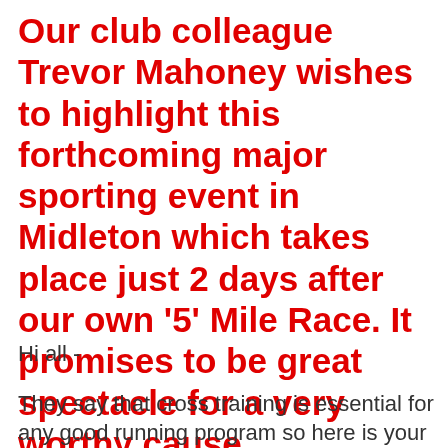Our club colleague Trevor Mahoney wishes to highlight this forthcoming major sporting event in Midleton which takes place just 2 days after our own '5' Mile Race. It promises to be great spectacle for a very worthy cause.
Hi all -
They say that cross training is essential for any good running program so here is your chance